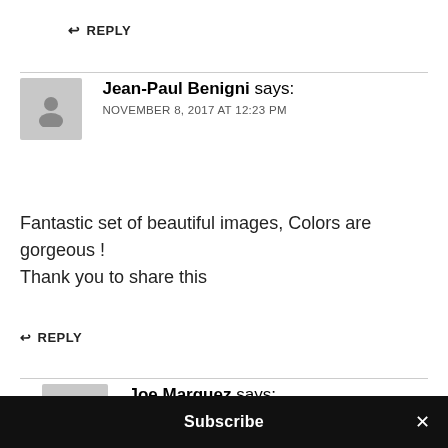↩ REPLY
Jean-Paul Benigni says:
NOVEMBER 8, 2017 AT 12:23 PM
Fantastic set of beautiful images, Colors are gorgeous !
Thank you to share this
↩ REPLY
Joe Marquez says:
NOVEMBER 8, 2017 AT 1:21 PM
Subscribe